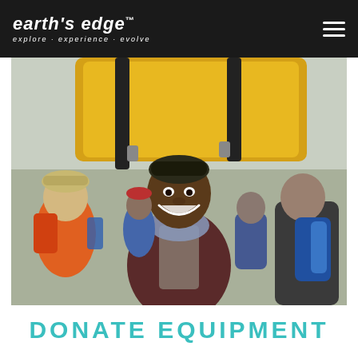earth's edge™ explore · experience · evolve
[Figure (photo): A smiling man carrying a large yellow bag on his head on a mountain trail, surrounded by other hikers with backpacks. Kilimanjaro porter scene.]
DONATE EQUIPMENT